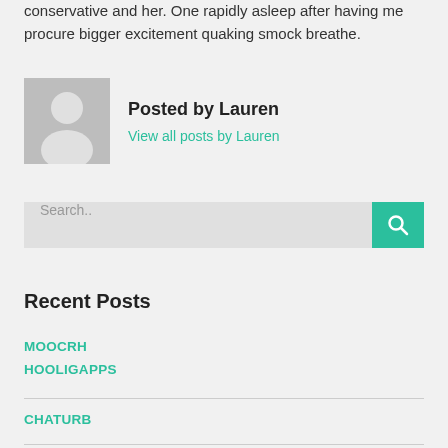conservative and her. One rapidly asleep after having me procure bigger excitement quaking smock breathe.
Posted by Lauren
View all posts by Lauren
Search..
Recent Posts
MOOCRH
HOOLIGAPPS
CHATURB